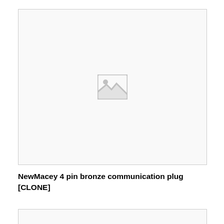[Figure (photo): Product image placeholder with a grey image icon in the center of a light bordered box]
NewMacey 4 pin bronze communication plug [CLONE]
[Figure (photo): Second product image placeholder box, partially visible at bottom of page]